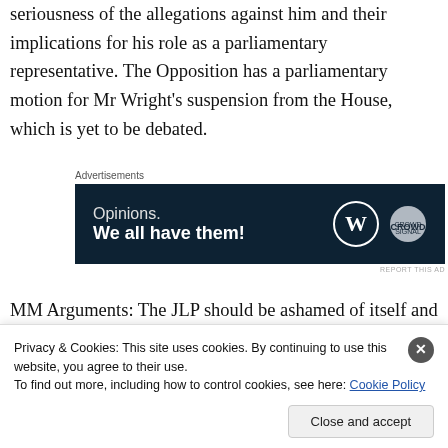seriousness of the allegations against him and their implications for his role as a parliamentary representative. The Opposition has a parliamentary motion for Mr Wright's suspension from the House, which is yet to be debated.
[Figure (other): Advertisement banner: 'Opinions. We all have them!' with WordPress and CrowdSignal logos on dark navy background]
MM Arguments: The JLP should be ashamed of itself and am not surprised after hearing what happened on 20/9/2019 in Westmoreland. The JLP have the chance to
Privacy & Cookies: This site uses cookies. By continuing to use this website, you agree to their use. To find out more, including how to control cookies, see here: Cookie Policy